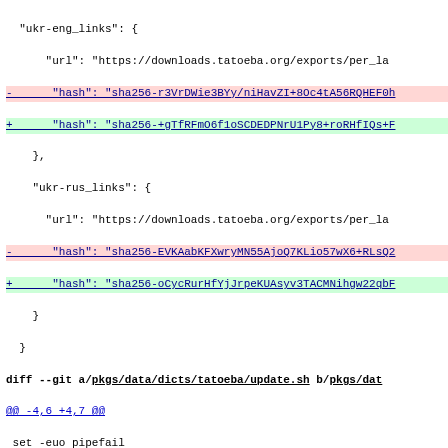Git diff output showing changes to tatoeba and maptourist package files
[Figure (screenshot): Code diff showing changes to ukr-eng_links and ukr-rus_links hash values in a Nix package file, followed by diffs to pkgs/data/dicts/tatoeba/update.sh and pkgs/data/maps/maptourist/default.nix]